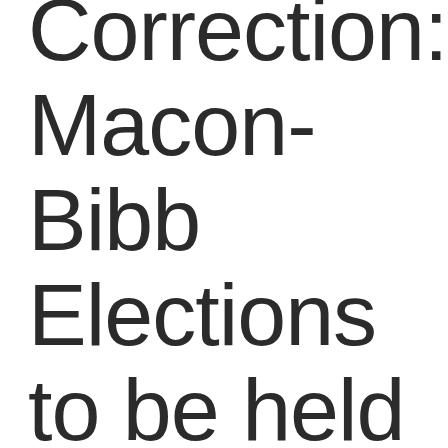Correction: Macon-Bibb Elections to be held in September